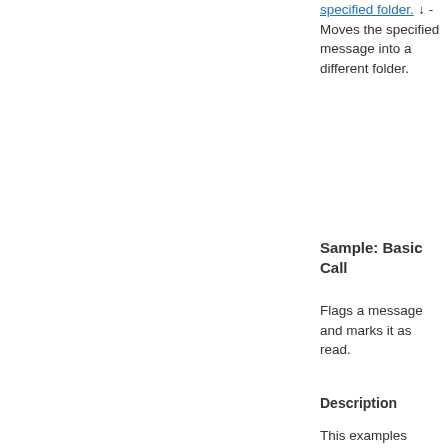specified folder. ↓ - Moves the specified message into a different folder.
Sample: Basic Call
Flags a message and marks it as read.
Description
This examples changes the